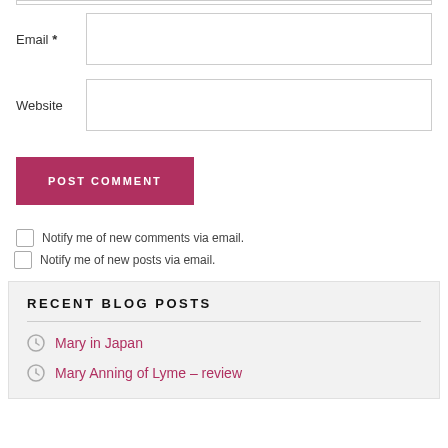Email *
Website
POST COMMENT
Notify me of new comments via email.
Notify me of new posts via email.
RECENT BLOG POSTS
Mary in Japan
Mary Anning of Lyme – review